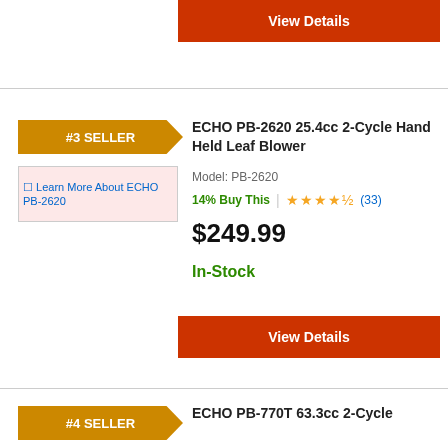View Details
#3 SELLER
[Figure (photo): Product image placeholder for ECHO PB-2620 with link text 'Learn More About ECHO PB-2620']
ECHO PB-2620 25.4cc 2-Cycle Hand Held Leaf Blower
Model: PB-2620
14% Buy This | ★★★★½ (33)
$249.99
In-Stock
View Details
#4 SELLER
ECHO PB-770T 63.3cc 2-Cycle